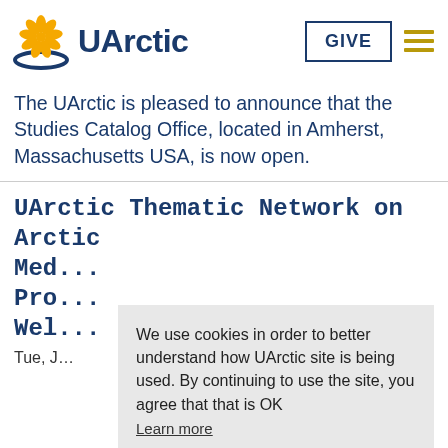[Figure (logo): UArctic logo: circular sun/flower shape in gold/yellow with blue crescent arc underneath, followed by bold dark blue text 'UArctic']
The UArctic is pleased to announce that the Studies Catalog Office, located in Amherst, Massachusetts USA, is now open.
UArctic Thematic Network on Arctic Med... Pro... Wel...
Tue, J...
We use cookies in order to better understand how UArctic site is being used. By continuing to use the site, you agree that that is OK
Learn more
Got it!